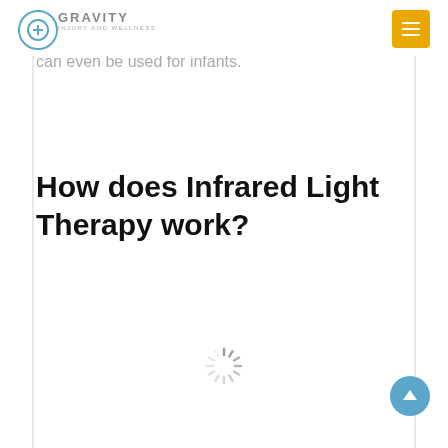GRAVITY INJURY AND WELLNESS
which may damage tissues and cells of the body. It is generally safe and has no adverse side effects that it can even be used for infants.
How does Infrared Light Therapy work?
[Figure (other): Loading spinner animation (circular dashed indicator)]